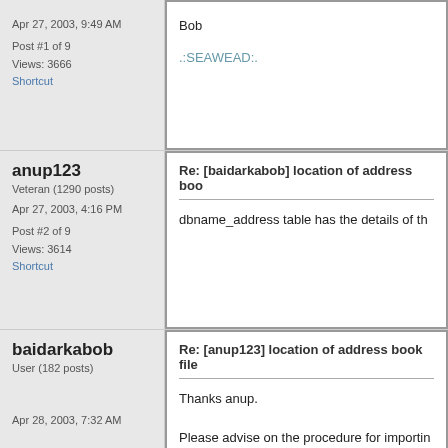Apr 27, 2003, 9:49 AM
Post #1 of 9
Views: 3666
Shortcut
Bob
.:SEAWEAD:.
anup123
Veteran (1290 posts)
Apr 27, 2003, 4:16 PM
Post #2 of 9
Views: 3614
Shortcut
Re: [baidarkabob] location of address boo
dbname_address table has the details of th
baidarkabob
User (182 posts)
Apr 28, 2003, 7:32 AM
Re: [anup123] location of address book file
Thanks anup.
Please advise on the procedure for importin
Thanks very much.